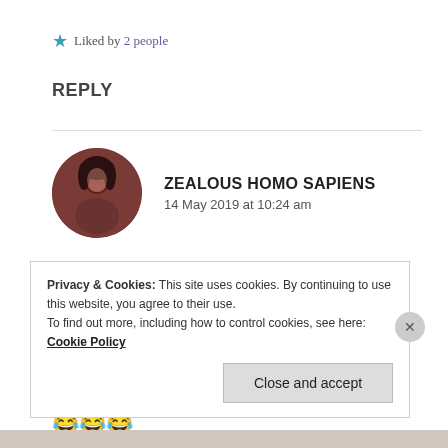★ Liked by 2 people
REPLY
[Figure (photo): Circular avatar photo of a person with dark hair against a brownish-red background]
ZEALOUS HOMO SAPIENS
14 May 2019 at 10:24 am
Thank you Kriti! I don't know! People like Aadi! 😂😂😂
Privacy & Cookies: This site uses cookies. By continuing to use this website, you agree to their use.
To find out more, including how to control cookies, see here: Cookie Policy
Close and accept